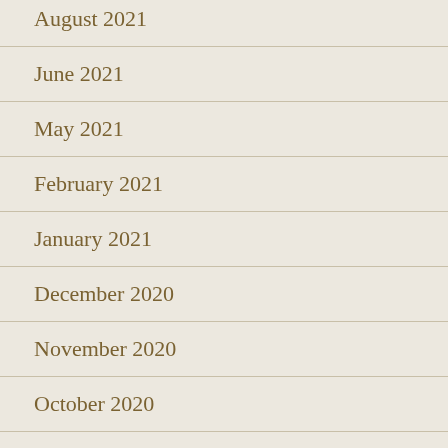August 2021
June 2021
May 2021
February 2021
January 2021
December 2020
November 2020
October 2020
September 2020